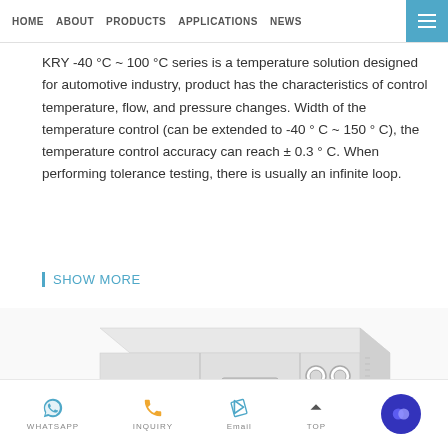HOME   ABOUT   PRODUCTS   APPLICATIONS   NEWS   ☰
KRY -40 °C ~ 100 °C series is a temperature solution designed for automotive industry, product has the characteristics of control temperature, flow, and pressure changes. Width of the temperature control (can be extended to -40 ° C ~ 150 ° C), the temperature control accuracy can reach ± 0.3 ° C. When performing tolerance testing, there is usually an infinite loop.
SHOW MORE
[Figure (photo): Industrial temperature control unit - large white cabinet-style machine with gauges and panel, isometric view]
WHATSAPP   INQUIRY   Email   TOP